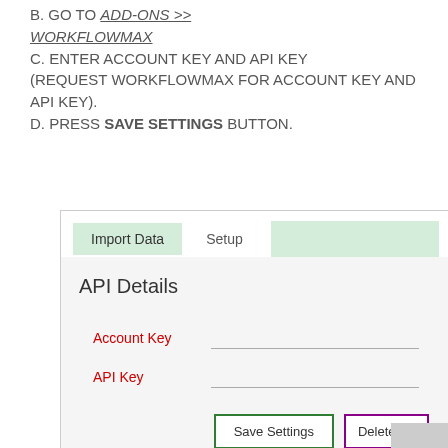B. GO TO ADD-ONS >> WORKFLOWMAX
C. ENTER ACCOUNT KEY AND API KEY (REQUEST WORKFLOWMAX FOR ACCOUNT KEY AND API KEY).
D. PRESS SAVE SETTINGS BUTTON.
[Figure (screenshot): Screenshot of WorkflowMax integration settings UI showing tabs (Import Data, Setup, and a green tab), API Details section with Account Key and API Key fields, Save Settings and Delete Se... buttons.]